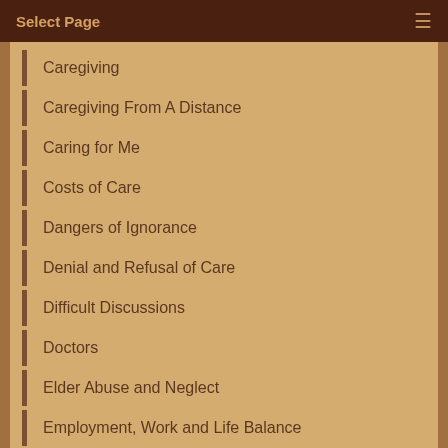Select Page
Caregiving
Caregiving From A Distance
Caring for Me
Costs of Care
Dangers of Ignorance
Denial and Refusal of Care
Difficult Discussions
Doctors
Elder Abuse and Neglect
Employment, Work and Life Balance
End of Life
Family Relationships & Conflict